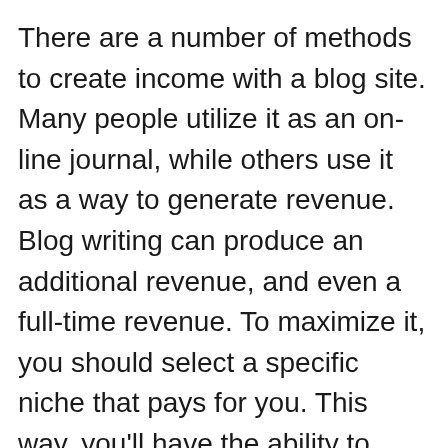There are a number of methods to create income with a blog site. Many people utilize it as an on-line journal, while others use it as a way to generate revenue. Blog writing can produce an additional revenue, and even a full-time revenue. To maximize it, you should select a specific niche that pays for you. This way, you'll have the ability to optimize your possibilities for better-paying affiliate deals and sponsored messages. Many business owners begin blog sites to boost their search rankings and also draw in more consumers. Blogging additionally assists produce a faithful on the internet area.